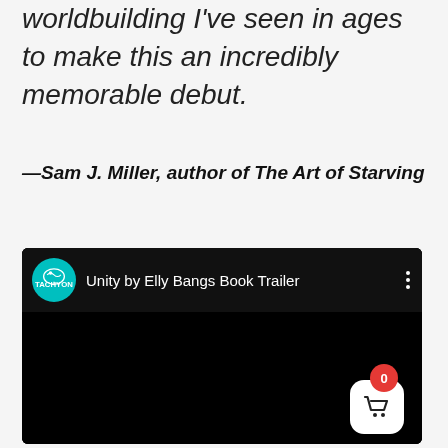worldbuilding I've seen in ages to make this an incredibly memorable debut.
—Sam J. Miller, author of The Art of Starving
[Figure (screenshot): YouTube-style video embed showing 'Unity by Elly Bangs Book Trailer' with Tachyon Publications channel icon on black background, with a shopping cart button overlay in bottom right corner showing 0 items]